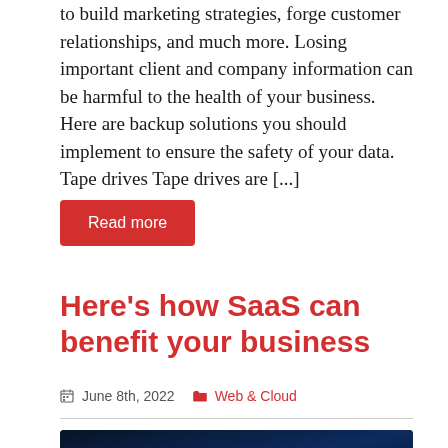to build marketing strategies, forge customer relationships, and much more. Losing important client and company information can be harmful to the health of your business. Here are backup solutions you should implement to ensure the safety of your data. Tape drives Tape drives are [...]
Read more
Here's how SaaS can benefit your business
June 8th, 2022    Web & Cloud
[Figure (photo): Dark blue technology background photo with glowing light beams, partially visible at bottom of page]